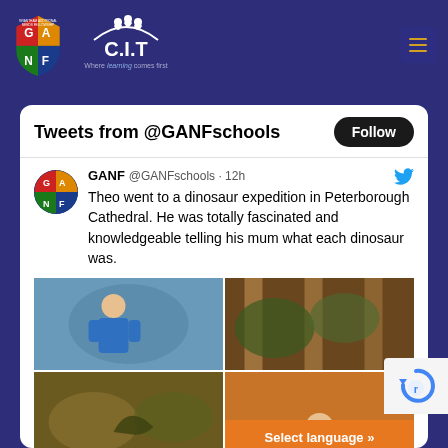GANF C.I.T Where learning comes first
Tweets from @GANFschools
GANF @GANFschools · 12h
Theo went to a dinosaur expedition in Peterborough Cathedral. He was totally fascinated and knowledgeable telling his mum what each dinosaur was.
[Figure (photo): Four-photo grid showing a child at a dinosaur expedition at Peterborough Cathedral]
[Figure (logo): reCAPTCHA logo overlay]
Select language »